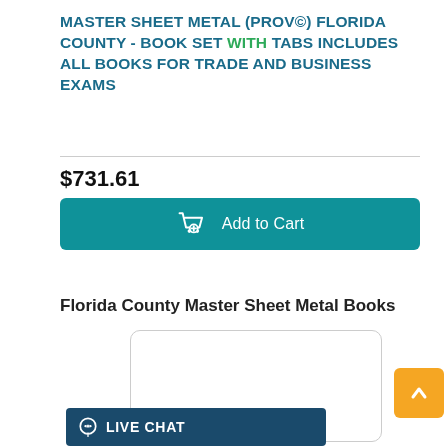MASTER SHEET METAL (PROV©) FLORIDA COUNTY - BOOK SET WITH TABS INCLUDES ALL BOOKS FOR TRADE AND BUSINESS EXAMS
$731.61
Add to Cart
Florida County Master Sheet Metal Books
[Figure (screenshot): Product image placeholder inside rounded border box]
[Figure (infographic): Live Chat button bar with chat bubble icon and two gold star rating icons]